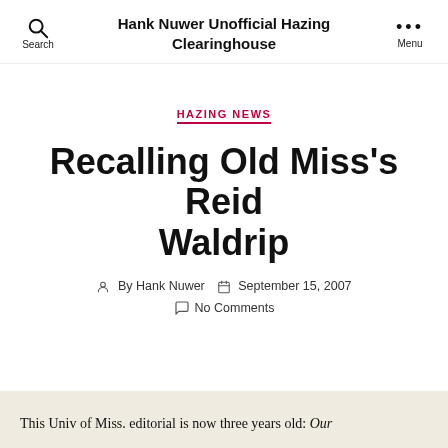Hank Nuwer Unofficial Hazing Clearinghouse
HAZING NEWS
Recalling Old Miss's Reid Waldrip
By Hank Nuwer   September 15, 2007
No Comments
This Univ of Miss. editorial is now three years old: Our